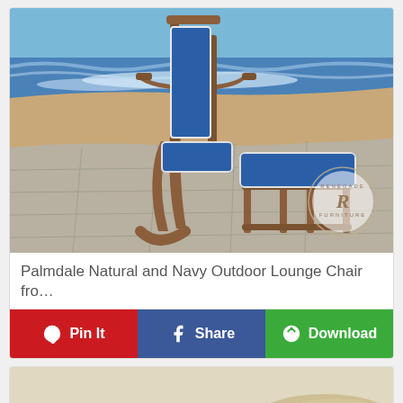[Figure (photo): Blue navy lounge chair with wooden teak frame and ottoman/footrest, placed on a tiled patio near a sandy beach with ocean waves in background. Renegade Furniture logo watermark visible in lower right.]
Palmdale Natural and Navy Outdoor Lounge Chair fro…
Pin It
Share
Download
[Figure (photo): Partial view of another furniture piece, light tan/beige colored, shown from above at an angle.]